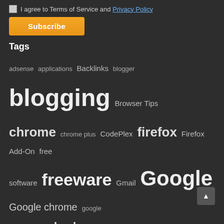I agree to Terms of Service and Privacy Policy
Subscribe
Tags
adsense applications Backlinks blogger blogging Browser Tips chrome chrome plus CodePlex firefox Firefox Add-On free software freeware Gmail Google Google chrome google docs google plus Google plus invite google plus tips Google Webmaster Tools how-to how-to guides howto how to a website htaccess Internet microsoft minify minify css optimization outlook productivity search engines SEO Social Networking Top 10 twitter Web 2.0 webmaster tools windows 7 wordpress wordpress plugins